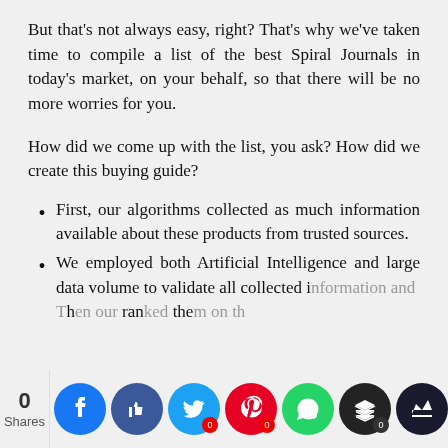But that's not always easy, right? That's why we've taken time to compile a list of the best Spiral Journals in today's market, on your behalf, so that there will be no more worries for you.
How did we come up with the list, you ask? How did we create this buying guide?
First, our algorithms collected as much information available about these products from trusted sources.
We employed both Artificial Intelligence and large data volume to validate all collected information and Then our ranked them on the
[Figure (other): Social sharing bar at bottom of page showing share count of 0 and social media icons: Facebook, thumbs-up/like, Twitter, Pinterest, WhatsApp, Buffer/layers, and a dark crown icon.]